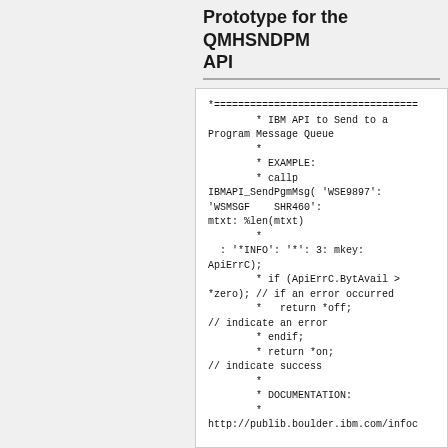Prototype for the QMHSNDPM API
[Figure (other): Code block showing IBM API example for QMHSNDPM - SendPgmMsg function with comments and documentation URL]